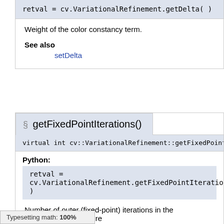retval = cv.VariationalRefinement.getDelta(  )
Weight of the color constancy term.
See also
setDelta
§ getFixedPointIterations()
virtual int cv::VariationalRefinement::getFixedPointIterations (  ) cons
Python:
retval = cv.VariationalRefinement.getFixedPointIterations(  )
Number of outer (fixed-point) iterations in the minimization procedure
See also
setFixedPointIterations
Typesetting math: 100%